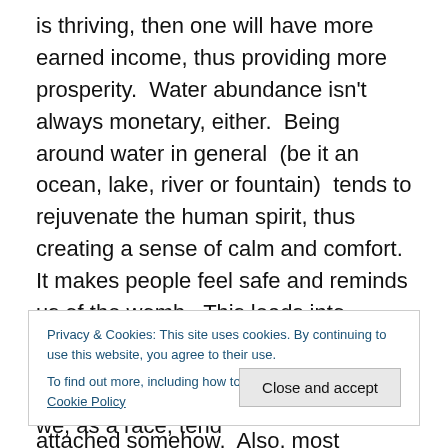is thriving, then one will have more earned income, thus providing more prosperity.  Water abundance isn't always monetary, either.  Being around water in general  (be it an ocean, lake, river or fountain)  tends to rejuvenate the human spirit, thus creating a sense of calm and comfort.  It makes people feel safe and reminds us of the womb.  This leads into another reason – waterfront property.  Nearly all major cities in the world have a large body of water directly attached somehow.  Also, most residential waterside property tends to be more affluent in nature, which raises the chi in those areas.  Unfortunately, this also raises the
Privacy & Cookies: This site uses cookies. By continuing to use this website, you agree to their use.
To find out more, including how to control cookies, see here: Cookie Policy
water.  It makes complete sense why we, as a race, tend